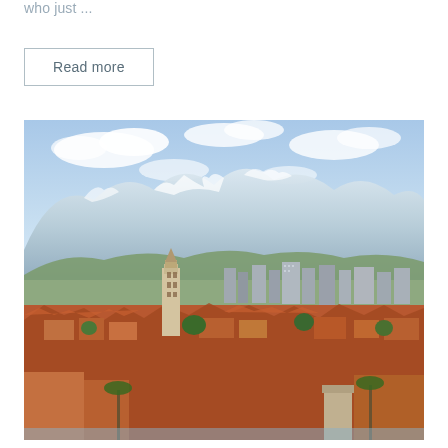who just ...
Read more
[Figure (photo): Aerial/elevated panoramic view of a Mediterranean coastal city (Split, Croatia) with terracotta-roofed old town buildings, a tall cathedral bell tower in the center, modern apartment blocks and city in the background, and snow-capped mountains (Mosor) under a partly cloudy blue sky.]